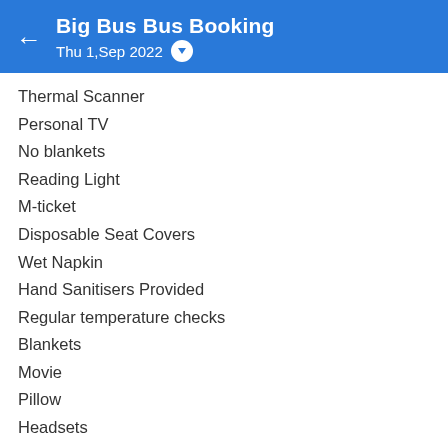Big Bus Bus Booking
Thu 1,Sep 2022
Thermal Scanner
Personal TV
No blankets
Reading Light
M-ticket
Disposable Seat Covers
Wet Napkin
Hand Sanitisers Provided
Regular temperature checks
Blankets
Movie
Pillow
Headsets
SnacksNA
CCTV
Moreover, Big Bus buses stop at various highway restaurants at regular intervals. You can eat food as well as freshen up at these stoppages. The halts are of short duration to ensure that you reach your destination on time.